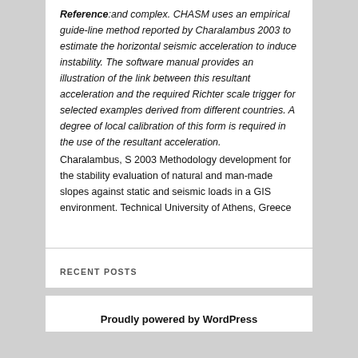Reference: and complex. CHASM uses an empirical guide-line method reported by Charalambus 2003 to estimate the horizontal seismic acceleration to induce instability. The software manual provides an illustration of the link between this resultant acceleration and the required Richter scale trigger for selected examples derived from different countries. A degree of local calibration of this form is required in the use of the resultant acceleration.
Charalambus, S 2003 Methodology development for the stability evaluation of natural and man-made slopes against static and seismic loads in a GIS environment. Technical University of Athens, Greece
RECENT POSTS
Proudly powered by WordPress